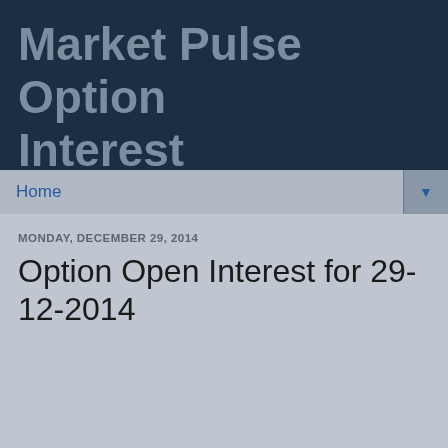Market Pulse Option Interest
Home
MONDAY, DECEMBER 29, 2014
Option Open Interest for 29-12-2014